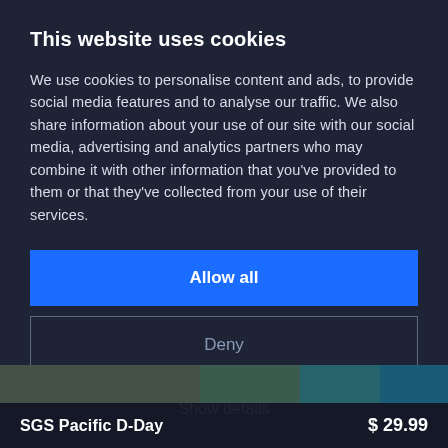This website uses cookies
We use cookies to personalise content and ads, to provide social media features and to analyse our traffic. We also share information about your use of our site with our social media, advertising and analytics partners who may combine it with other information that you've provided to them or that they've collected from your use of their services.
Allow all
Deny
Show details
[Figure (screenshot): Partial screenshot of a game product image (SGS Pacific D-Day) visible at the bottom of the page]
SGS Pacific D-Day
$ 29.99